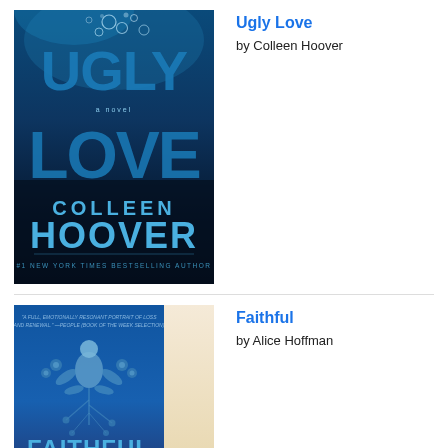[Figure (photo): Book cover of 'Ugly Love' by Colleen Hoover. Dark blue cover with large text 'UGLY LOVE' and water droplets. Bottom reads 'COLLEEN HOOVER' and '#1 New York Times Bestselling Author'.]
Ugly Love
by Colleen Hoover
[Figure (photo): Book cover of 'Faithful' by Alice Hoffman. Blue cover with floral illustration and text 'FAITHFUL' at the bottom.]
Faithful
by Alice Hoffman